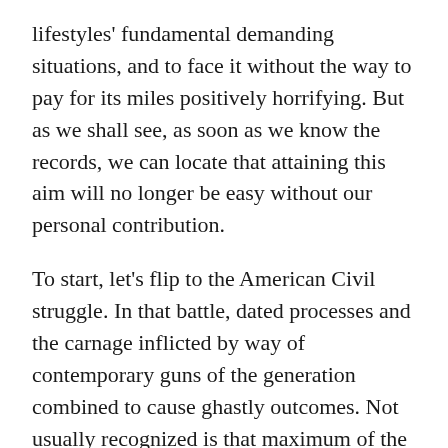lifestyles' fundamental demanding situations, and to face it without the way to pay for its miles positively horrifying. But as we shall see, as soon as we know the records, we can locate that attaining this aim will no longer be easy without our personal contribution.
To start, let's flip to the American Civil struggle. In that battle, dated processes and the carnage inflicted by way of contemporary guns of the generation combined to cause ghastly outcomes. Not usually recognized is that maximum of the deaths on both aspects of that struggle was now not the result of the real fight; however, to what befell after a battlefield wound changed into inflicted. First, evacuation of the wounded moved at a snail's tempo, which brought on extreme delays in treating the wounded. Secondly, many wounds were subjected to wound care, associated surgical procedures, and/or amputations of the affected limbs, which